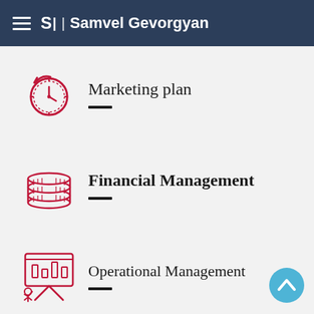Samvel Gevorgyan
Marketing plan
Financial Management
Operational Management